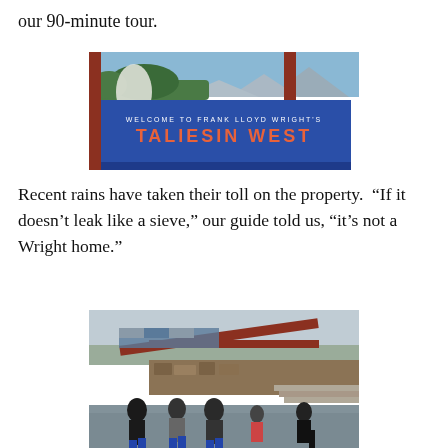our 90-minute tour.
[Figure (photo): Welcome sign at Frank Lloyd Wright's Taliesin West — a blue sign with orange lettering reading 'WELCOME TO FRANK LLOYD WRIGHT'S TALIESIN WEST', a white statue of an angel on the left, and mountains and desert vegetation in the background.]
Recent rains have taken their toll on the property.  “If it doesn’t leak like a sieve,” our guide told us, “it’s not a Wright home.”
[Figure (photo): Group of people on a tour walking in front of a Frank Lloyd Wright building at Taliesin West. The building features horizontal red wood beams and stone walls. Several men in dark clothing walk in the foreground on wet pavement.]